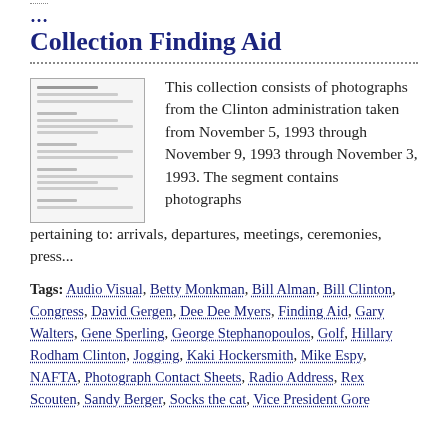Collection Finding Aid
[Figure (photo): Thumbnail image of a document page with lines of text]
This collection consists of photographs from the Clinton administration taken from November 5, 1993 through November 9, 1993 through November 3, 1993. The segment contains photographs pertaining to: arrivals, departures, meetings, ceremonies, press...
Tags: Audio Visual, Betty Monkman, Bill Alman, Bill Clinton, Congress, David Gergen, Dee Dee Myers, Finding Aid, Gary Walters, Gene Sperling, George Stephanopoulos, Golf, Hillary Rodham Clinton, Jogging, Kaki Hockersmith, Mike Espy, NAFTA, Photograph Contact Sheets, Radio Address, Rex Scouten, Sandy Berger, Socks the cat, Vice President Gore